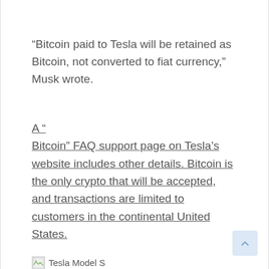“Bitcoin paid to Tesla will be retained as Bitcoin, not converted to fiat currency,” Musk wrote.
A “ Bitcoin” FAQ support page on Tesla’s website includes other details. Bitcoin is the only crypto that will be accepted, and transactions are limited to customers in the continental United States.
[Figure (other): Broken image placeholder icon followed by text label 'Tesla Model S']